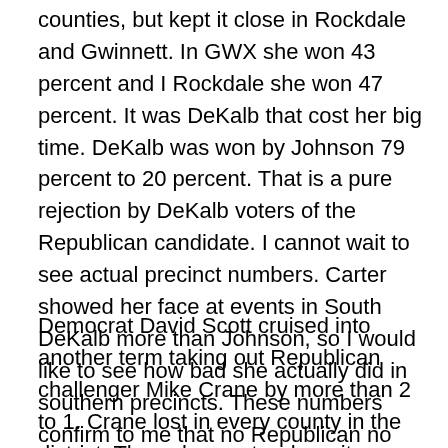counties, but kept it close in Rockdale and Gwinnett. In GWX she won 43 percent and I Rockdale she won 47 percent. It was DeKalb that cost her big time. DeKalb was won by Johnson 79 percent to 20 percent. That is a pure rejection by DeKalb voters of the Republican candidate. I cannot wait to see actual precinct numbers. Carter showed her face at events in South DeKalb more than Johnson, so I would like to see how bad she actually did in southern precincts. These numbers confirm to me that no Republican no matter how moderate can win in the fourth short of redistricting which is coming soon.
Democrat David Scott cruised into another term taking out Republican challenger Mike Crane by more than 2 to 1. Crane lost in every county in the district. The only county where it was close was Douglas, he was just over 1000 votes behind. The rest were a wash. The Secretary of